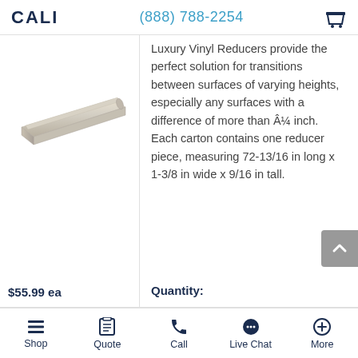CALI  (888) 788-2254
[Figure (photo): A beige/ivory vinyl reducer strip shown at an angle, elongated piece with a tapered cross-section profile]
Luxury Vinyl Reducers provide the perfect solution for transitions between surfaces of varying heights, especially any surfaces with a difference of more than Â¼ inch. Each carton contains one reducer piece, measuring 72-13/16 in long x 1-3/8 in wide x 9/16 in tall.
$55.99 ea
Quantity:
Shop  Quote  Call  Live Chat  More